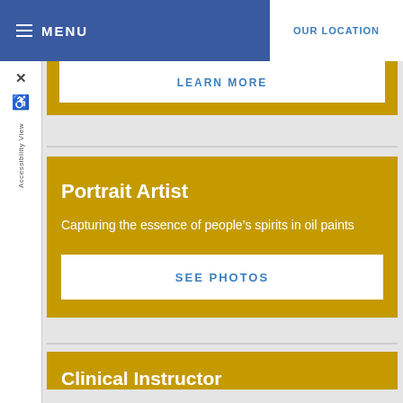MENU   OUR LOCATION
LEARN MORE
Portrait Artist
Capturing the essence of people's spirits in oil paints
SEE PHOTOS
Clinical Instructor